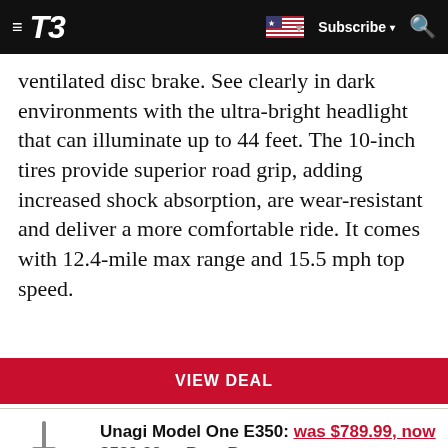T3 | Subscribe | Search
ventilated disc brake. See clearly in dark environments with the ultra-bright headlight that can illuminate up to 44 feet. The 10-inch tires provide superior road grip, adding increased shock absorption, are wear-resistant and deliver a more comfortable ride. It comes with 12.4-mile max range and 15.5 mph top speed.
VIEW DEAL
Unagi Model One E350: was $789.99, now $589.99 at Best Buy
The Model One E350 is the perfect city companion with its ultra-